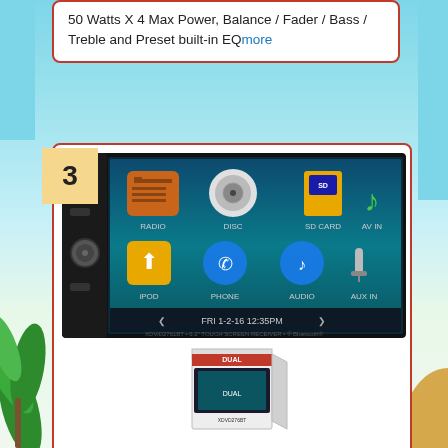50 Watts X 4 Max Power, Balance / Fader / Bass / Treble and Preset built-in EQmore
[Figure (photo): Dual XDVD276BT car stereo unit showing touchscreen interface with icons for RADIO, DISC, SD CARD, AV IN, IPOD, PHONE, AUDIO, AUX IN. Date shown: FRI 1-2-16 12:35PM]
[Figure (photo): Product box/packaging for Dual XDVD276BT car stereo]
Dual XDVD276BT 6.2" LCD Touch Screen Double Din Car Stereo